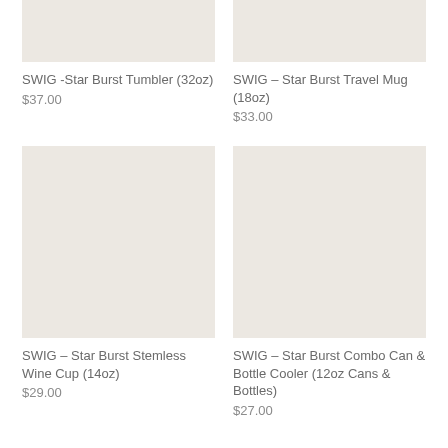[Figure (photo): Product image placeholder for SWIG Star Burst Tumbler 32oz, light beige/cream rectangle]
[Figure (photo): Product image placeholder for SWIG Star Burst Travel Mug 18oz, light beige/cream rectangle]
SWIG -Star Burst Tumbler (32oz)
$37.00
SWIG – Star Burst Travel Mug (18oz)
$33.00
[Figure (photo): Product image placeholder for SWIG Star Burst Stemless Wine Cup 14oz, light beige/cream rectangle]
[Figure (photo): Product image placeholder for SWIG Star Burst Combo Can & Bottle Cooler 12oz, light beige/cream rectangle]
SWIG – Star Burst Stemless Wine Cup (14oz)
$29.00
SWIG – Star Burst Combo Can & Bottle Cooler (12oz Cans & Bottles)
$27.00